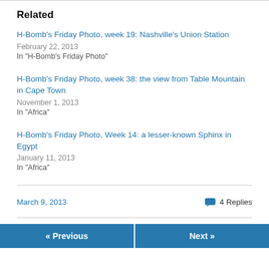Related
H-Bomb's Friday Photo, week 19: Nashville's Union Station
February 22, 2013
In "H-Bomb's Friday Photo"
H-Bomb's Friday Photo, week 38: the view from Table Mountain in Cape Town
November 1, 2013
In "Africa"
H-Bomb's Friday Photo, Week 14: a lesser-known Sphinx in Egypt
January 11, 2013
In "Africa"
March 9, 2013   4 Replies
« Previous   Next »